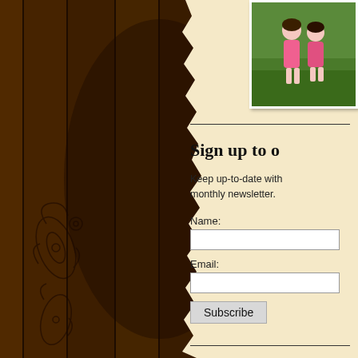[Figure (illustration): Wood plank background with dark brown vertical grain lines and decorative paisley pattern on the left side]
[Figure (photo): Photo of two young girls in pink shirts standing outdoors near green grass]
Sign up to o
Keep up-to-date with monthly newsletter.
Name:
Email:
Subscribe